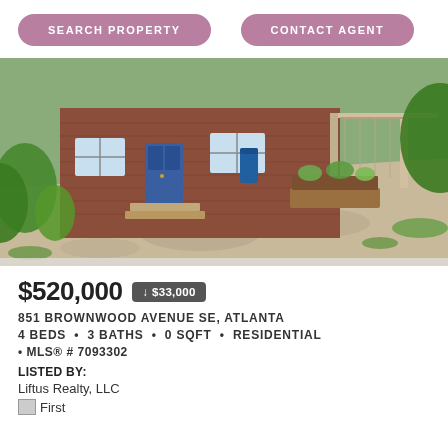SEARCH PROPERTY   CONTACT AGENT
[Figure (photo): Exterior photo of a brick residential home at 851 Brownwood Avenue SE, Atlanta, showing a concrete driveway, green landscaping, garden boxes, and a carport.]
$520,000 ↓ $33,000
851 BROWNWOOD AVENUE SE, ATLANTA
4 BEDS • 3 BATHS • 0 SQFT • RESIDENTIAL
• MLS® # 7093302
LISTED BY:
Liftus Realty, LLC
First